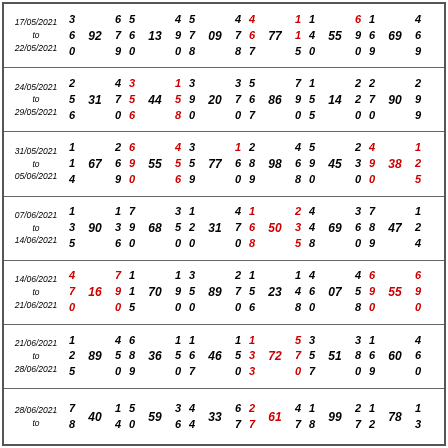| 17/05/2021 to 22/05/2021 | 3 6 0 | 92 | 6 7 9 5 6 0 | 4 9 7 0 8 | 13 | 4 5 | 09 | 4 7 8 4 6 7 | 77 | 1 1 1 4 5 0 | 55 | 6 9 0 1 6 9 | 69 | 4 6 9 |
| 24/05/2021 to 29/05/2021 | 2 5 6 | 31 | 4 7 0 3 5 6 | 1 5 8 3 9 0 | 44 | 20 | 3 7 0 5 6 7 | 86 | 7 9 0 1 5 | 14 | 2 2 0 7 0 | 90 | 2 9 9 |
| 31/05/2021 to 05/06/2021 | 1 1 4 | 67 | 2 6 9 6 9 0 | 4 5 6 9 | 55 | 77 | 1 6 0 2 8 9 | 98 | 4 6 8 5 9 0 | 45 | 2 4 0 3 9 0 | 38 | 1 2 5 |
| 07/06/2021 to 14/06/2021 | 1 3 5 | 90 | 1 3 6 7 9 0 | 3 5 2 1 0 | 68 | 31 | 4 7 0 1 6 8 | 50 | 2 3 5 4 4 8 | 69 | 3 7 0 6 8 9 | 47 | 1 2 4 |
| 14/06/2021 to 21/06/2021 | 4 7 0 | 16 | 7 9 0 1 1 5 | 1 3 9 5 0 | 70 | 89 | 2 7 0 1 5 6 | 23 | 1 4 8 4 6 0 | 07 | 4 6 0 5 9 8 0 | 55 | 6 9 0 |
| 21/06/2021 to 28/06/2021 | 1 2 5 | 89 | 4 5 0 6 8 9 | 1 1 5 6 0 7 | 36 | 46 | 1 5 0 1 3 3 | 72 | 5 7 0 3 5 7 | 51 | 3 8 0 1 6 9 | 60 | 4 6 0 |
| 28/06/2021 to | 7 8 | 40 | 1 4 5 0 | 3 6 4 4 | 59 | 33 | 6 7 2 7 | 61 | 4 7 8 1 8 | 99 | 2 7 1 2 | 78 | 1 3 |